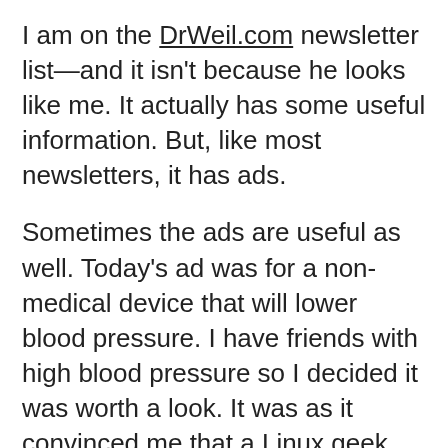I am on the DrWeil.com newsletter list—and it isn't because he looks like me. It actually has some useful information. But, like most newsletters, it has ads.
Sometimes the ads are useful as well. Today's ad was for a non-medical device that will lower blood pressure. I have friends with high blood pressure so I decided it was worth a look. It was as it convinced me that a Linux geek needs to build an Open Source product for those that don't have expensive medical insurance that will pay for overpriced gadgets.
The product is a little box with a few buttons, a small LCD, an embedded processor, a respiration sensor and a set of headphones. Oh, and "patented technology". What the unit does is teaches you to slow down your breathing which should lower your